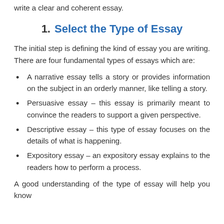When you follow all the steps, you are definitely going to write a clear and coherent essay.
1.   Select the Type of Essay
The initial step is defining the kind of essay you are writing. There are four fundamental types of essays which are:
A narrative essay tells a story or provides information on the subject in an orderly manner, like telling a story.
Persuasive essay – this essay is primarily meant to convince the readers to support a given perspective.
Descriptive essay – this type of essay focuses on the details of what is happening.
Expository essay – an expository essay explains to the readers how to perform a process.
A good understanding of the type of essay will help you know